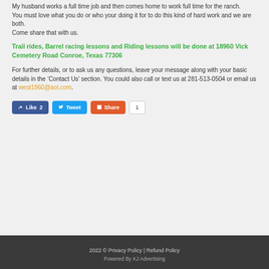My husband works a full time job and then comes home to work full time for the ranch.
You must love what you do or who your doing it for to do this kind of hard work and we are both.
Come share that with us.
Trail rides, Barrel racing lessons and Riding lessons will be done at 18960 Vick Cemetery Road Conroe, Texas 77306
For further details, or to ask us any questions, leave your message along with your basic details in the ‘Contact Us’ section. You could also call or text us at 281-513-0504 or email us at west1960@aol.com.
[Figure (other): Social media sharing buttons: Like 2 (Facebook), Tweet (Twitter), Share (Google+), and a count badge showing 1]
2022 © Privacy Policy | Refund Policy
Powered By KJ Advertising